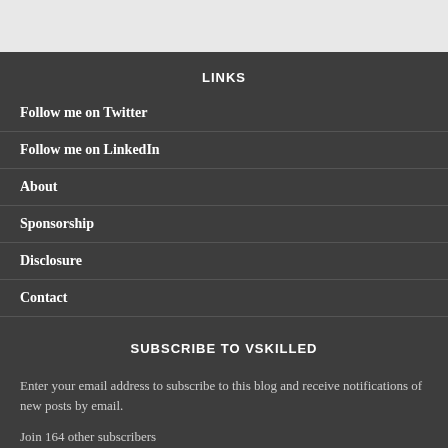LINKS
Follow me on Twitter
Follow me on LinkedIn
About
Sponsorship
Disclosure
Contact
SUBSCRIBE TO VSKILLED
Enter your email address to subscribe to this blog and receive notifications of new posts by email.
Join 164 other subscribers